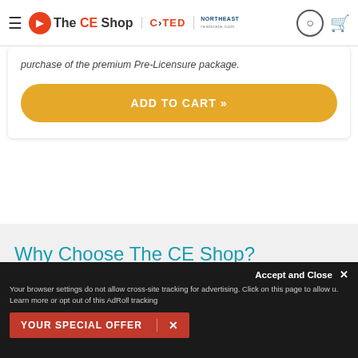The CE Shop | C>TED | NORTHEAST
purchase of the premium Pre-Licensure package.
ADD TO CART »
Why Choose The CE Shop?
You're only a few clicks away from accessing the best education in the real estate industry. Choose your education type and get started today!
INTERACTIVE CONTENT
Accept and Close ✕
Your browser settings do not allow cross-site tracking for advertising. Click on this page to allow u. Learn more or opt out of this AdRoll tracking
YOUR SPECIAL OFFER  ✕